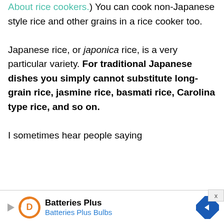About rice cookers.) You can cook non-Japanese style rice and other grains in a rice cooker too.

Japanese rice, or japonica rice, is a very particular variety. For traditional Japanese dishes you simply cannot substitute long-grain rice, jasmine rice, basmati rice, Carolina type rice, and so on.

I sometimes hear people saying
[Figure (other): Advertisement banner for Batteries Plus / Batteries Plus Bulbs with orange circular logo, play button icon, and blue directional arrow sign icon]